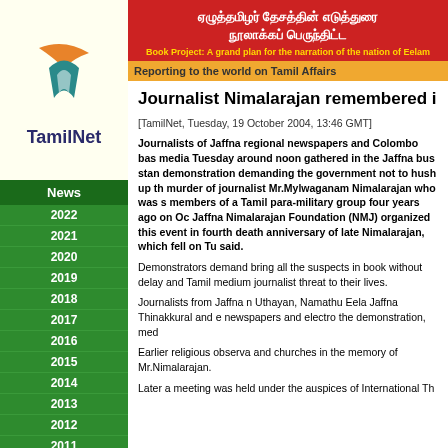[Figure (logo): TamilNet logo with stylized T and N letters in orange and teal, with text TamilNet below]
ஏழுத்தமிழர் தேசத்தின் எடுத்துரை நூலாக்கப் பெருந்திட்ட
Book Project: A grand plan for the narration of the nation of Eelam
Reporting to the world on Tamil Affairs
News
2022
2021
2020
2019
2018
2017
2016
2015
2014
2013
2012
2011
2010
2009
2008
2007
2006
2005
2004
December
November
October
September
August
Journalist Nimalarajan remembered i
[TamilNet, Tuesday, 19 October 2004, 13:46 GMT]
Journalists of Jaffna regional newspapers and Colombo based media Tuesday around noon gathered in the Jaffna bus stand demonstration demanding the government not to hush up the murder of journalist Mr.Mylwaganam Nimalarajan who was shot by members of a Tamil para-military group four years ago on Oct. Jaffna Nimalarajan Foundation (NMJ) organized this event in fourth death anniversary of late Nimalarajan, which fell on Tu said.

Demonstrators demanded to bring all the suspects in the book without delay and Tamil medium journalists the threat to their lives.

Journalists from Jaffna r Uthayan, Namathu Eela Jaffna Thinakkural and e newspapers and electro the demonstration, med

Earlier religious observa and churches in the memory of Mr.Nimalarajan.

Later a meeting was held under the auspices of International Th